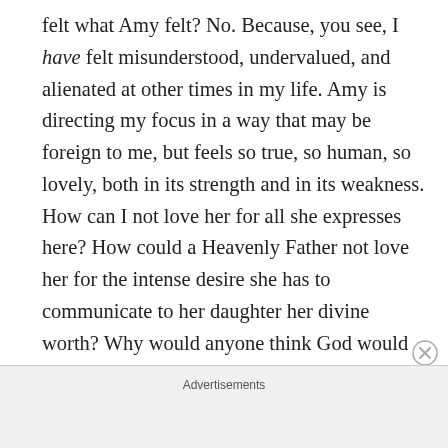felt what Amy felt? No. Because, you see, I have felt misunderstood, undervalued, and alienated at other times in my life. Amy is directing my focus in a way that may be foreign to me, but feels so true, so human, so lovely, both in its strength and in its weakness. How can I not love her for all she expresses here? How could a Heavenly Father not love her for the intense desire she has to communicate to her daughter her divine worth? Why would anyone think God would rebuke her for that instead of comforting her? The desire of Amy's heart may be differently expressed than mine, but her desire for her child's well-being is the same as my desire for
Advertisements